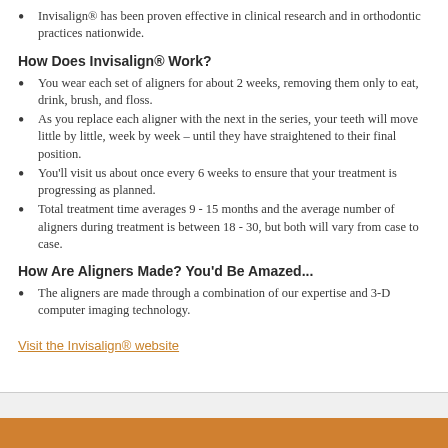Invisalign® has been proven effective in clinical research and in orthodontic practices nationwide.
How Does Invisalign® Work?
You wear each set of aligners for about 2 weeks, removing them only to eat, drink, brush, and floss.
As you replace each aligner with the next in the series, your teeth will move little by little, week by week - until they have straightened to their final position.
You'll visit us about once every 6 weeks to ensure that your treatment is progressing as planned.
Total treatment time averages 9 - 15 months and the average number of aligners during treatment is between 18 - 30, but both will vary from case to case.
How Are Aligners Made? You'd Be Amazed...
The aligners are made through a combination of our expertise and 3-D computer imaging technology.
Visit the Invisalign® website